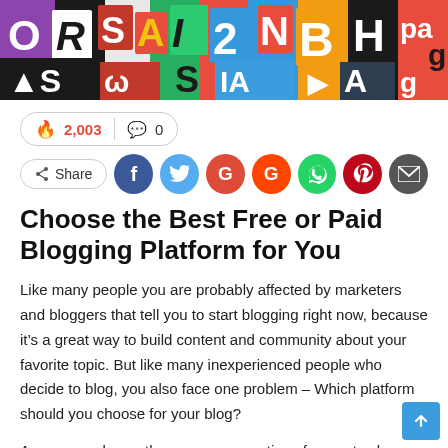[Figure (photo): Colorful collage banner of cut-out letters and characters in various fonts, colors, and sizes]
🔥 2,003  💬 0
< Share [Facebook] [Twitter] [Google+] [Reddit] [WhatsApp] [Pinterest] [Email]
Choose the Best Free or Paid Blogging Platform for You
Like many people you are probably affected by marketers and bloggers that tell you to start blogging right now, because it's a great way to build content and community about your favorite topic. But like many inexperienced people who decide to blog, you also face one problem – Which platform should you choose for your blog?
As you may know, there are many options for you to choose from. You can get free blog software. This way you save money, but because of the features that you could lost with